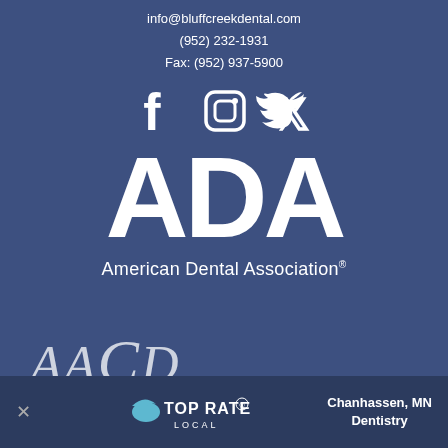info@bluffcreekdental.com
(952) 232-1931
Fax: (952) 937-5900
[Figure (logo): Social media icons: Facebook, Instagram, Twitter in white on blue background]
[Figure (logo): ADA American Dental Association logo in white on dark blue background. Large bold ADA letters with 'American Dental Association®' text below.]
[Figure (logo): AACD American Academy of Cosmetic Dentistry logo in light color on dark blue background]
Chanhassen, MN Dentistry
[Figure (logo): Top Rated Local badge/banner at bottom of page]